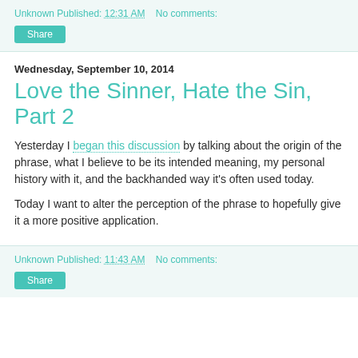Unknown Published: 12:31 AM   No comments:
Share
Wednesday, September 10, 2014
Love the Sinner, Hate the Sin, Part 2
Yesterday I began this discussion by talking about the origin of the phrase, what I believe to be its intended meaning, my personal history with it, and the backhanded way it's often used today.
Today I want to alter the perception of the phrase to hopefully give it a more positive application.
Unknown Published: 11:43 AM   No comments:
Share